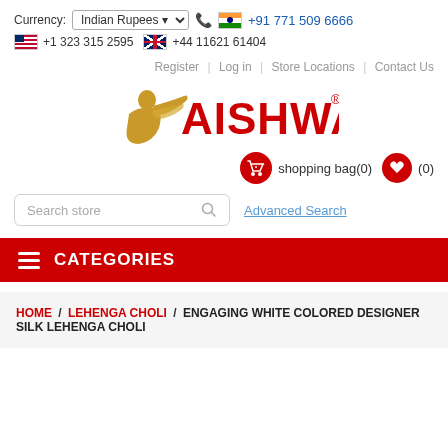Currency: Indian Rupees | +91 771 509 6666 | +1 323 315 2595 | +44 11621 61404
Register | Log in | Store Locations | Contact Us
[Figure (logo): Aishwarya brand logo with golden woman figure and red AISHWARYA text with registered trademark symbol]
shopping bag(0)  (0)
Search store  Advanced Search
CATEGORIES
HOME / LEHENGA CHOLI / ENGAGING WHITE COLORED DESIGNER SILK LEHENGA CHOLI